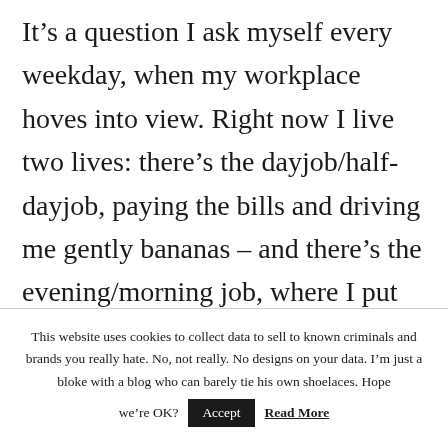It’s a question I ask myself every weekday, when my workplace hoves into view. Right now I live two lives: there’s the dayjob/half-dayjob, paying the bills and driving me gently bananas – and there’s the evening/morning job, where I put fingers to keyboard or pen to paper, and every makes sense again.
This website uses cookies to collect data to sell to known criminals and brands you really hate. No, not really. No designs on your data. I’m just a bloke with a blog who can barely tie his own shoelaces. Hope we’re OK?